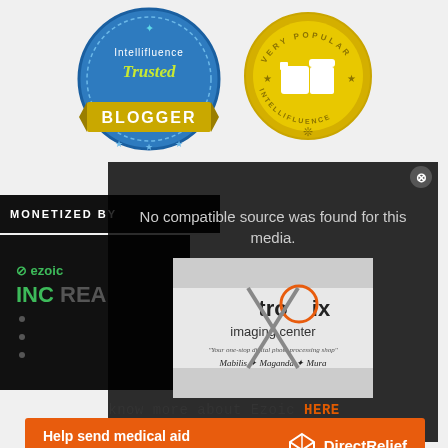[Figure (logo): Intellifluence Trusted Blogger badge - blue circular badge with gold 'BLOGGER' ribbon banner]
[Figure (logo): Intellifluence Very Popular badge - gold circular badge with thumbs up icon]
[Figure (screenshot): Video player overlay showing 'No compatible source was found for this media.' with tronix imaging center image and X close button]
know more about Ezoic HERE
[Figure (illustration): Direct Relief orange banner ad: 'Help send medical aid to Ukraine >>' with Direct Relief logo]